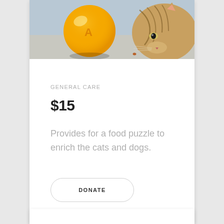[Figure (photo): Photo of a tabby cat sniffing near an orange ball-shaped food puzzle toy, with small cat food kibble pieces scattered nearby on a light surface.]
GENERAL CARE
$15
Provides for a food puzzle to enrich the cats and dogs.
DONATE